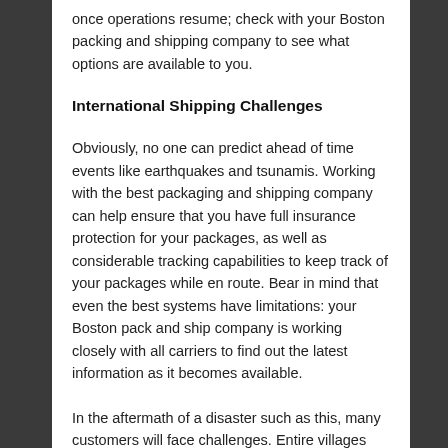once operations resume; check with your Boston packing and shipping company to see what options are available to you.
International Shipping Challenges
Obviously, no one can predict ahead of time events like earthquakes and tsunamis. Working with the best packaging and shipping company can help ensure that you have full insurance protection for your packages, as well as considerable tracking capabilities to keep track of your packages while en route. Bear in mind that even the best systems have limitations: your Boston pack and ship company is working closely with all carriers to find out the latest information as it becomes available.
In the aftermath of a disaster such as this, many customers will face challenges. Entire villages appear to have been lost; it is very probable that some shipments throughout the region may be